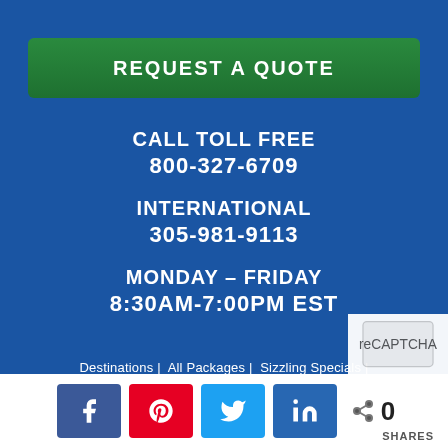REQUEST A QUOTE
CALL TOLL FREE
800-327-6709
INTERNATIONAL
305-981-9113
MONDAY – FRIDAY
8:30AM-7:00PM EST
Destinations | All Packages | Sizzling Specials |
Singles Specials | All Inclusive / Condo / Family Packages |
0 SHARES